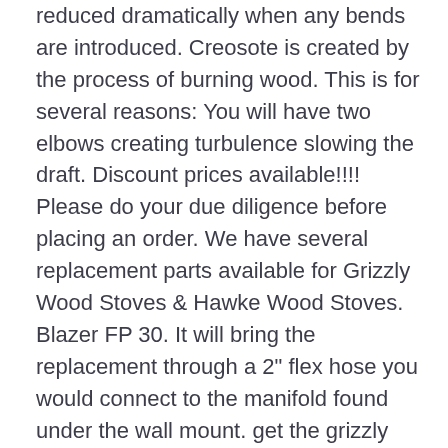reduced dramatically when any bends are introduced. Creosote is created by the process of burning wood. This is for several reasons: You will have two elbows creating turbulence slowing the draft. Discount prices available!!!! Please do your due diligence before placing an order. We have several replacement parts available for Grizzly Wood Stoves & Hawke Wood Stoves. Blazer FP 30. It will bring the replacement through a 2" flex hose you would connect to the manifold found under the wall mount. get the grizzly blazer wood stove member that we allow here and check out the link. The Grizzly wood stove is an old model from a company that went out of business in the early or mid 1990s. You have more flue pipe outside than if you exited out the roof. However 6 3/4" ( 17.14 cm ) allows for good airflow around the sides and it does not damage the insulation on the inside. They were among the finest of